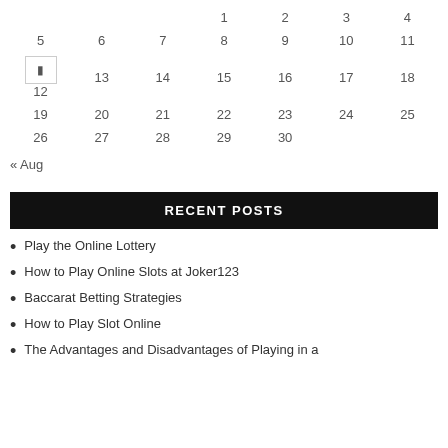|  |  |  |  |  |  |  |
| --- | --- | --- | --- | --- | --- | --- |
|  |  |  | 1 | 2 | 3 | 4 |
| 5 | 6 | 7 | 8 | 9 | 10 | 11 |
| [nav]12 | 13 | 14 | 15 | 16 | 17 | 18 |
| 19 | 20 | 21 | 22 | 23 | 24 | 25 |
| 26 | 27 | 28 | 29 | 30 |  |  |
« Aug
RECENT POSTS
Play the Online Lottery
How to Play Online Slots at Joker123
Baccarat Betting Strategies
How to Play Slot Online
The Advantages and Disadvantages of Playing in a